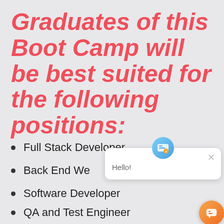Graduates of this Boot Camp will be best suited for the following positions:
Full Stack Developer
Back End Web Developer
Software Developer
QA and Test Engineer
[Figure (screenshot): Chat popup overlay with icon and Hello! greeting text, and an orange chat bubble button in the bottom right corner]